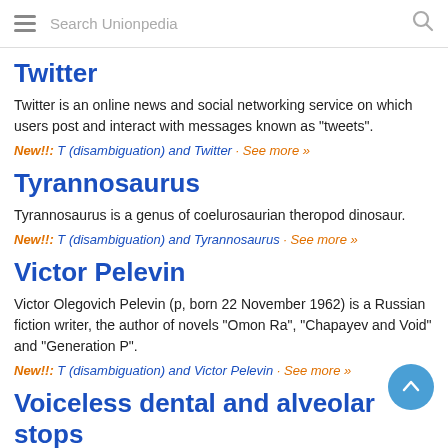Search Unionpedia
Twitter
Twitter is an online news and social networking service on which users post and interact with messages known as "tweets".
New!!: T (disambiguation) and Twitter · See more »
Tyrannosaurus
Tyrannosaurus is a genus of coelurosaurian theropod dinosaur.
New!!: T (disambiguation) and Tyrannosaurus · See more »
Victor Pelevin
Victor Olegovich Pelevin (p, born 22 November 1962) is a Russian fiction writer, the author of novels "Omon Ra", "Chapayev and Void" and "Generation P".
New!!: T (disambiguation) and Victor Pelevin · See more »
Voiceless dental and alveolar stops